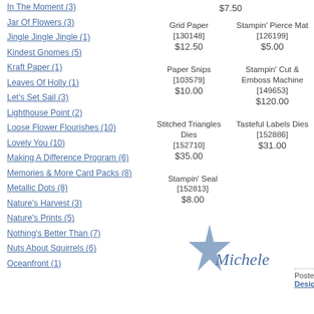In The Moment (3)
Jar Of Flowers (3)
Jingle Jingle Jingle (1)
Kindest Gnomes (5)
Kraft Paper (1)
Leaves Of Holly (1)
Let's Set Sail (3)
Lighthouse Point (2)
Loose Flower Flourishes (10)
Lovely You (10)
Making A Difference Program (6)
Memories & More Card Packs (8)
Metallic Dots (8)
Nature's Harvest (3)
Nature's Prints (5)
Nothing's Better Than (7)
Nuts About Squirrels (6)
Oceanfront (1)
| Product | Code | Price |
| --- | --- | --- |
| Grid Paper | [130148] | $12.50 |
| Stampin' Pierce Mat | [126199] | $5.00 |
| Paper Snips | [103579] | $10.00 |
| Stampin' Cut & Emboss Machine | [149653] | $120.00 |
| Stitched Triangles Dies | [152710] | $35.00 |
| Tasteful Labels Dies | [152886] | $31.00 |
| Stampin' Seal | [152813] | $8.00 |
[Figure (illustration): Blue star with cursive signature 'Michele']
Posted at 10:00 AM in Blending Brushes, Design